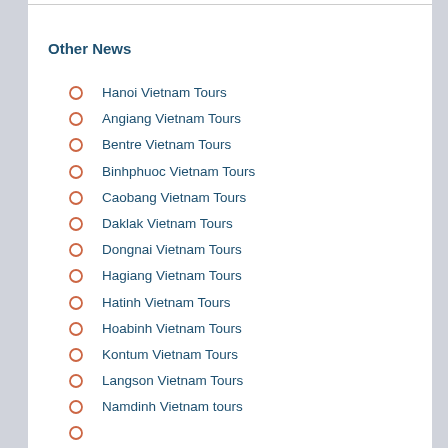Other News
Hanoi Vietnam Tours
Angiang Vietnam Tours
Bentre Vietnam Tours
Binhphuoc Vietnam Tours
Caobang Vietnam Tours
Daklak Vietnam Tours
Dongnai Vietnam Tours
Hagiang Vietnam Tours
Hatinh Vietnam Tours
Hoabinh Vietnam Tours
Kontum Vietnam Tours
Langson Vietnam Tours
Namdinh Vietnam tours